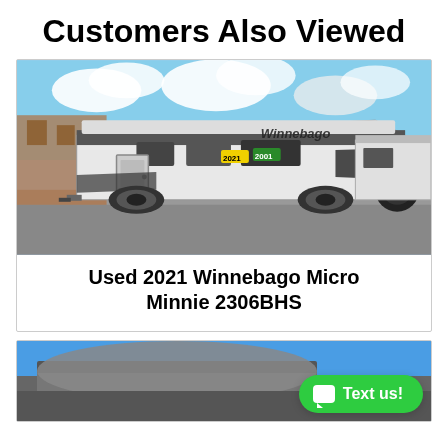Customers Also Viewed
[Figure (photo): Photo of a used 2021 Winnebago Micro Minnie 2306BHS travel trailer RV parked in a lot, white with black accents, year stickers visible on the side, cloudy sky background.]
Used 2021 Winnebago Micro Minnie 2306BHS
[Figure (photo): Partial photo of another RV visible at the bottom of the page, showing blue sky and the roof/front of the unit.]